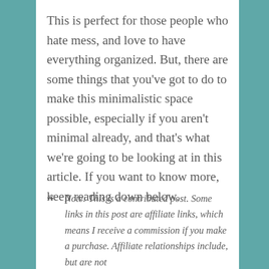This is perfect for those people who hate mess, and love to have everything organized. But, there are some things that you've got to do to make this minimalistic space possible, especially if you aren't minimal already, and that's what we're going to be looking at in this article. If you want to know more, keep reading down below.
Note: This is a contributed post. Some links in this post are affiliate links, which means I receive a commission if you make a purchase. Affiliate relationships include, but are not